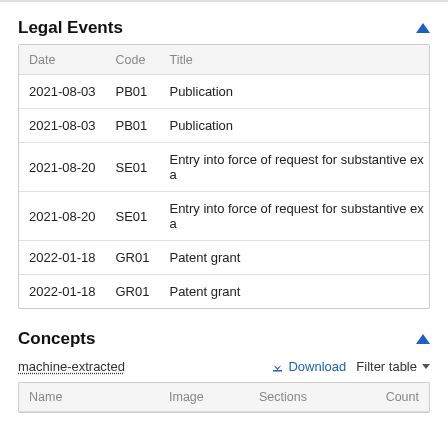Legal Events
| Date | Code | Title |
| --- | --- | --- |
| 2021-08-03 | PB01 | Publication |
| 2021-08-03 | PB01 | Publication |
| 2021-08-20 | SE01 | Entry into force of request for substantive exa |
| 2021-08-20 | SE01 | Entry into force of request for substantive exa |
| 2022-01-18 | GR01 | Patent grant |
| 2022-01-18 | GR01 | Patent grant |
Concepts
machine-extracted
| Name | Image | Sections | Count |
| --- | --- | --- | --- |